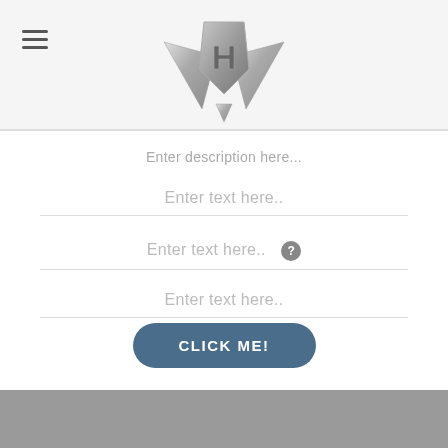[Figure (logo): Stylized diamond/shield logo with letter H in the center, chrome metallic look with wing-like chevron shapes pointing downward, brand logo for a website]
Enter description here...
Enter text here..
Enter text here..  ?
Enter text here..
CLICK ME!
[Figure (other): Gray background footer area at the bottom of the page]